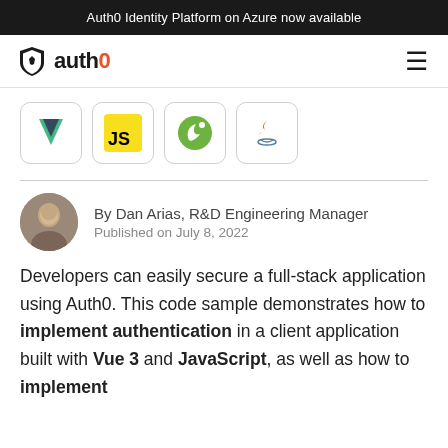Auth0 Identity Platform on Azure now available
[Figure (logo): Auth0 logo with shield icon and 'auth0' wordmark]
[Figure (illustration): Technology icons row: Vue.js (green V), JavaScript (yellow JS), Spring (green leaf), Java (coffee cup)]
By Dan Arias, R&D Engineering Manager
Published on July 8, 2022
Developers can easily secure a full-stack application using Auth0. This code sample demonstrates how to implement authentication in a client application built with Vue 3 and JavaScript, as well as how to implement